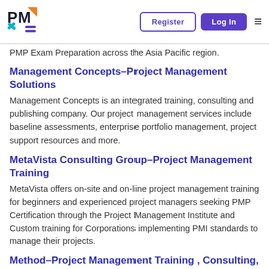PMI logo | Register | Log In
PMP Exam Preparation across the Asia Pacific region.
Management Concepts–Project Management Solutions
Management Concepts is an integrated training, consulting and publishing company. Our project management services include baseline assessments, enterprise portfolio management, project support resources and more.
MetaVista Consulting Group–Project Management Training
MetaVista offers on-site and on-line project management training for beginners and experienced project managers seeking PMP Certification through the Project Management Institute and Custom training for Corporations implementing PMI standards to manage their projects.
Method–Project Management Training , Consulting, and Certification Program